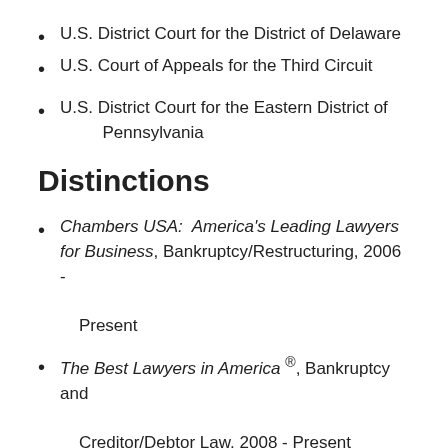U.S. District Court for the District of Delaware
U.S. Court of Appeals for the Third Circuit
U.S. District Court for the Eastern District of Pennsylvania
Distinctions
Chambers USA:  America's Leading Lawyers for Business, Bankruptcy/Restructuring, 2006 - Present
The Best Lawyers in America ®, Bankruptcy and Creditor/Debtor Law, 2008 - Present
The Deal ®, Leading Bankruptcy Tables, 2006 -